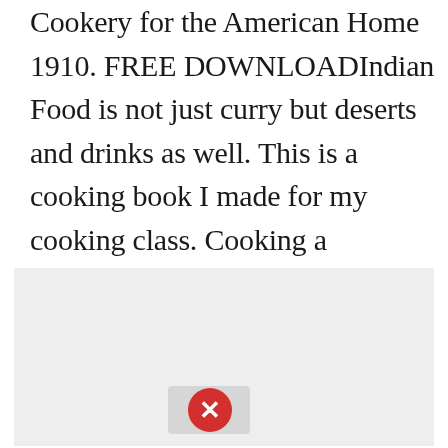Cookery for the American Home 1910. FREE DOWNLOADIndian Food is not just curry but deserts and drinks as well. This is a cooking book I made for my cooking class. Cooking a multicultural feast abbreviations. Viii deliciously healthy dinners introduction Whats good for your heart is great for your taste buds.
[Figure (screenshot): A light gray advertisement or image placeholder box with a close/error button (red circle with white X) near the bottom center.]